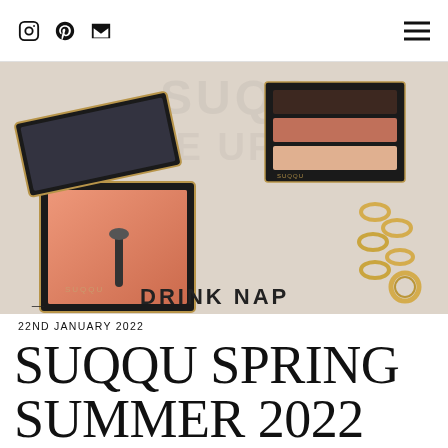Instagram Pinterest Email [hamburger menu]
[Figure (photo): Flatlay photo of SUQQU makeup products including an open blush compact in coral/peach shade, a multi-pan eyeshadow palette in browns and nudes, gold jewelry including rings and chain, on a linen surface with text reading DRINK NAP]
22ND JANUARY 2022
SUQQU SPRING SUMMER 2022 COLOUR